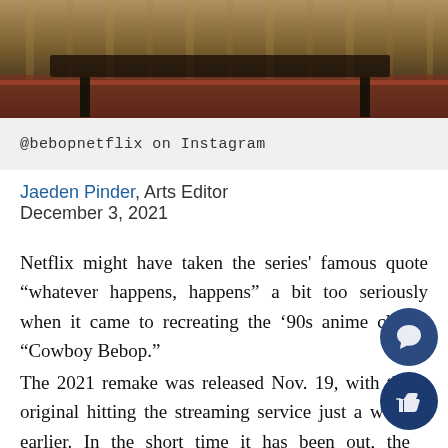[Figure (photo): Photo of people seated, visible from knees down, on a patterned rug with wooden furniture, from @bebopnetflix Instagram]
@bebopnetflix on Instagram
Jaeden Pinder, Arts Editor
December 3, 2021
Netflix might have taken the series’ famous quote “whatever happens, happens” a bit too seriously when it came to recreating the ’90s anime classic “Cowboy Bebop.”
The 2021 remake was released Nov. 19, with the original hitting the streaming service just a week earlier. In the short time it has been out, the “Bebop” has been panned across critics and fa… after promising promotional material.
Space Western “Cowboy Bebop” is hailed as a…